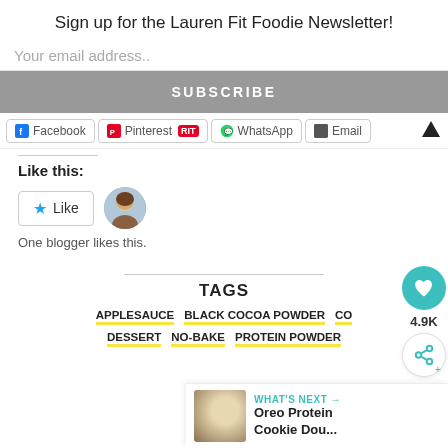Sign up for the Lauren Fit Foodie Newsletter!
Your email address..
SUBSCRIBE
Facebook  Pinterest  WhatsApp  Email
Like this:
One blogger likes this.
TAGS
APPLESAUCE
BLACK COCOA POWDER
CO...
DESSERT
NO-BAKE
PROTEIN POWDER
4.9K
WHAT'S NEXT → Oreo Protein Cookie Dou...